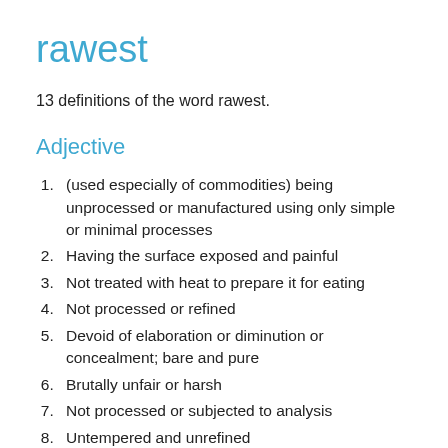rawest
13 definitions of the word rawest.
Adjective
(used especially of commodities) being unprocessed or manufactured using only simple or minimal processes
Having the surface exposed and painful
Not treated with heat to prepare it for eating
Not processed or refined
Devoid of elaboration or diminution or concealment; bare and pure
Brutally unfair or harsh
Not processed or subjected to analysis
Untempered and unrefined